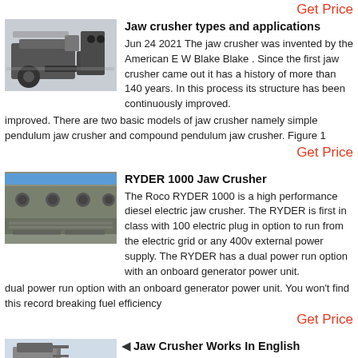Get Price
Jaw crusher types and applications
Jun 24 2021  The jaw crusher was invented by the American E W Blake Blake . Since the first jaw crusher came out it has a history of more than 140 years. In this process its structure has been continuously improved. There are two basic models of jaw crusher namely simple pendulum jaw crusher and compound pendulum jaw crusher. Figure 1
Get Price
RYDER 1000 Jaw Crusher
The Roco RYDER 1000 is a high performance diesel electric jaw crusher. The RYDER is first in class with 100 electric plug in option to run from the electric grid or any 400v external power supply. The RYDER has a dual power run option with an onboard generator power unit. You won't find this record breaking fuel efficiency
Get Price
Jaw Crusher Works In English
Jaw Crusher Works In English Crusher Wikipedia A